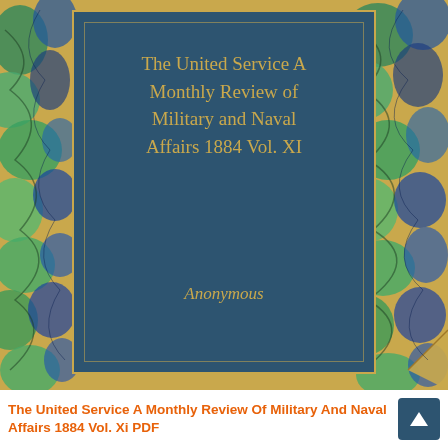[Figure (illustration): Book cover of 'The United Service A Monthly Review of Military and Naval Affairs 1884 Vol. XI' by Anonymous. Dark teal/navy blue rectangular panel centered on a golden/ochre background with marbled green and blue endpaper patterns on sides. Title text in gold serif font at top of panel, author 'Anonymous' in gold italic at bottom of panel.]
The United Service A Monthly Review Of Military And Naval Affairs 1884 Vol. Xi PDF